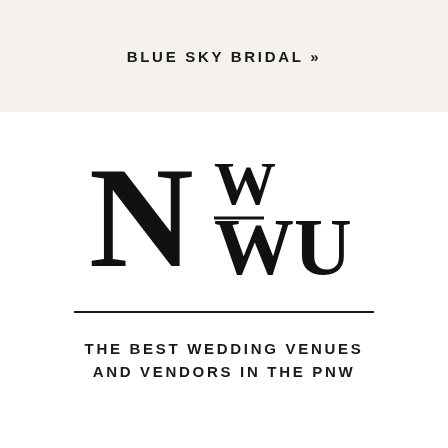BLUE SKY BRIDAL »
[Figure (logo): NW-WU stylized logo with large serif N, superscript W, dash, and WU text]
THE BEST WEDDING VENUES AND VENDORS IN THE PNW